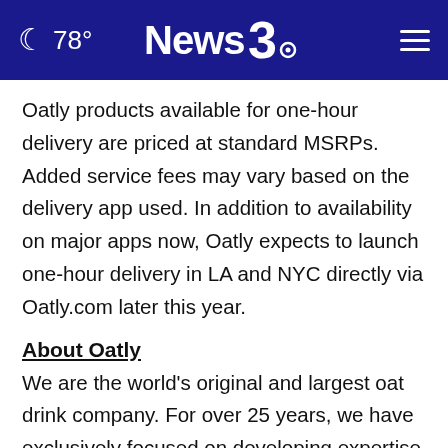78° News3
Oatly products available for one-hour delivery are priced at standard MSRPs. Added service fees may vary based on the delivery app used. In addition to availability on major apps now, Oatly expects to launch one-hour delivery in LA and NYC directly via Oatly.com later this year.
About Oatly
We are the world's original and largest oat drink company. For over 25 years, we have exclusively focused on developing expertise around oats: a